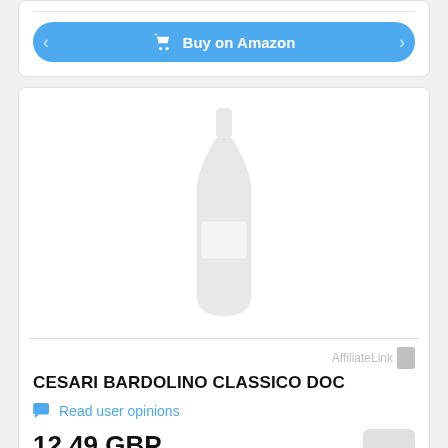[Figure (other): Buy on Amazon button with shopping cart icon, blue pill-shaped button]
[Figure (photo): Faded/greyed out wine bottle placeholder image centered in product card]
AffiliateLink
CESARI BARDOLINO CLASSICO DOC
Read user opinions
12.49 GBP